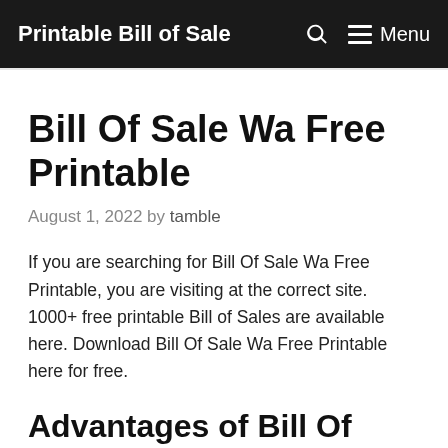Printable Bill of Sale   Menu
Bill Of Sale Wa Free Printable
August 1, 2022 by tamble
If you are searching for Bill Of Sale Wa Free Printable, you are visiting at the correct site. 1000+ free printable Bill of Sales are available here. Download Bill Of Sale Wa Free Printable here for free.
Advantages of Bill Of Sale Wa